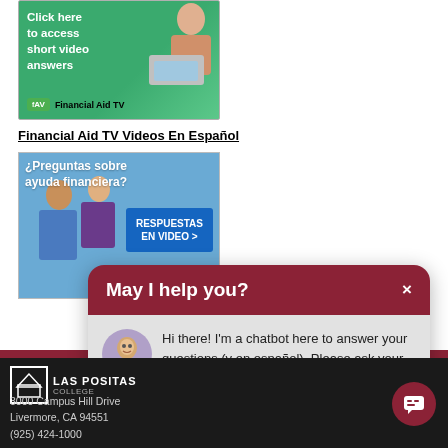[Figure (screenshot): Financial Aid TV banner - green background with woman and laptop, text 'Click here to access short video answers' and Financial Aid TV logo]
Financial Aid TV Videos En Español
[Figure (screenshot): Spanish Financial Aid TV banner - blue background with two people, text '¿Preguntas sobre ayuda financiera?' and 'RESPUESTAS EN VIDEO >']
[Figure (screenshot): Chatbot popup with dark red header 'May I help you?' with X close button, and chat body showing avatar and message: 'Hi there! I'm a chatbot here to answer your questions (y en español). Please ask your question (e.g., How do I apply for admissions?).']
LAS POSITAS
3000 Campus Hill Drive
Livermore, CA 94551
(925) 424-1000